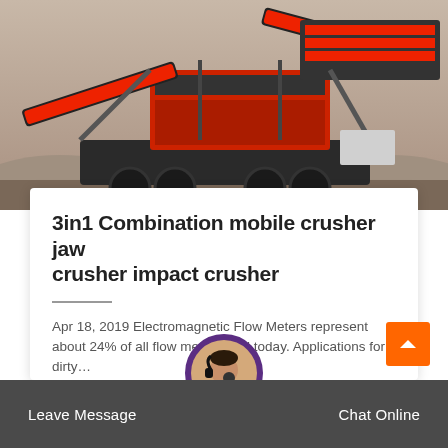[Figure (photo): Sepia-toned photograph of a large red and black mobile crushing plant with conveyor belts and heavy machinery on a worksite, surrounded by gravel piles]
3in1 Combination mobile crusher jaw crusher impact crusher
Apr 18, 2019 Electromagnetic Flow Meters represent about 24% of all flow meters sold today. Applications for dirty…
Leave Message   Chat Online